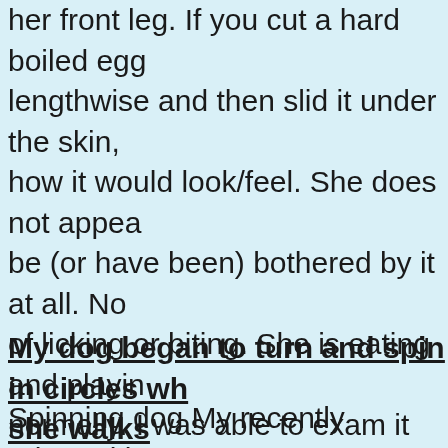her front leg. If you cut a hard boiled egg lengthwise and then slid it under the skin, how it would look/feel. She does not appear be (or have been) bothered by it at all. No of licking or biting. She is eating and playing normally. I was able to exam it without any trouble and didn't notice any redness or visible bite marks. She is an active, healthy yellow and almost 10 years old.
My dog began to turn and spin in circles when she walks
Spinning dog My recently adopted boxer months old) has been suffering from a respiratory illness that causes her to be very congested.She's being treated with Clavan and seems to be improving.She still has some congestion and a slight cough.A few days